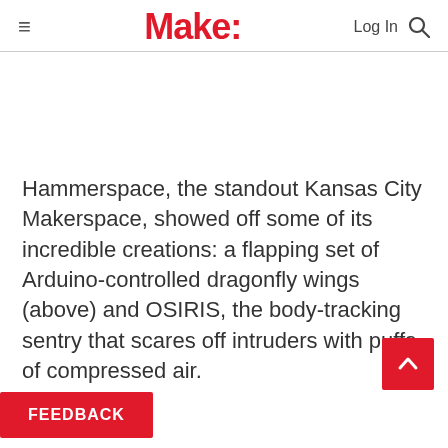Make:
Hammerspace, the standout Kansas City Makerspace, showed off some of its incredible creations: a flapping set of Arduino-controlled dragonfly wings (above) and OSIRIS, the body-tracking sentry that scares off intruders with puffs of compressed air.